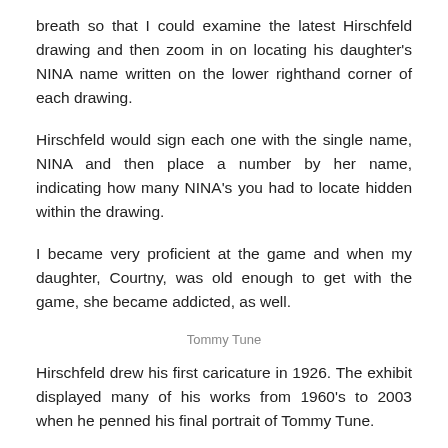breath so that I could examine the latest Hirschfeld drawing and then zoom in on locating his daughter's NINA name written on the lower righthand corner of each drawing.
Hirschfeld would sign each one with the single name, NINA and then place a number by her name, indicating how many NINA's you had to locate hidden within the drawing.
I became very proficient at the game and when my daughter, Courtny, was old enough to get with the game, she became addicted, as well.
Tommy Tune
Hirschfeld drew his first caricature in 1926. The exhibit displayed many of his works from 1960's to 2003 when he penned his final portrait of Tommy Tune.